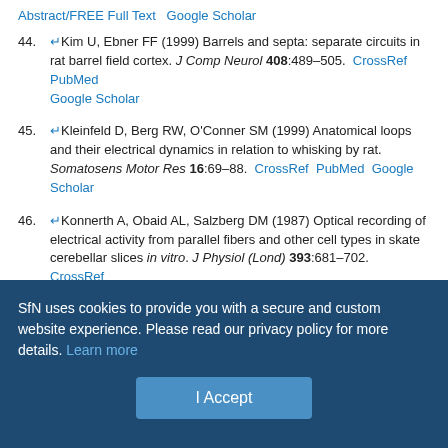Abstract/FREE Full Text   Google Scholar
44. Kim U, Ebner FF (1999) Barrels and septa: separate circuits in rat barrel field cortex. J Comp Neurol 408:489–505. CrossRef PubMed Google Scholar
45. Kleinfeld D, Berg RW, O'Conner SM (1999) Anatomical loops and their electrical dynamics in relation to whisking by rat. Somatosens Motor Res 16:69–88. CrossRef PubMed Google Scholar
46. Konnerth A, Obaid AL, Salzberg DM (1987) Optical recording of electrical activity from parallel fibers and other cell types in skate cerebellar slices in vitro. J Physiol (Lond) 393:681–702. CrossRef PubMed Google Scholar
47. Kyriazi HT, Carvell GE, Simons DJ (1994) OFF response transformations in the whisker/barrel system. J Neurophysiol 72:392–
SfN uses cookies to provide you with a secure and custom website experience. Please read our privacy policy for more details. Learn more